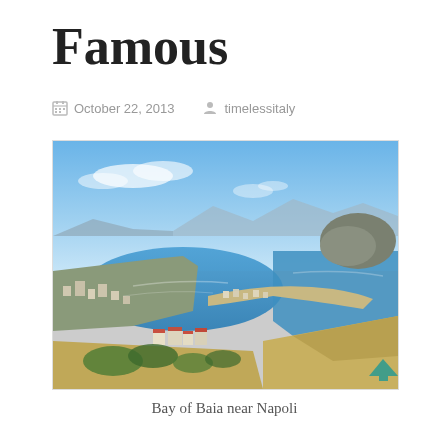Famous
October 22, 2013   timelessitaly
[Figure (photo): Aerial panoramic view of the Bay of Baia near Napoli, Italy, showing a curved bay with a peninsula, town buildings along the shoreline, blue water, distant mountains, and a rounded hill on the right. Foreground shows dry grassy hillside with green vegetation. A teal upward-arrow icon is visible at the bottom right corner of the image.]
Bay of Baia near Napoli